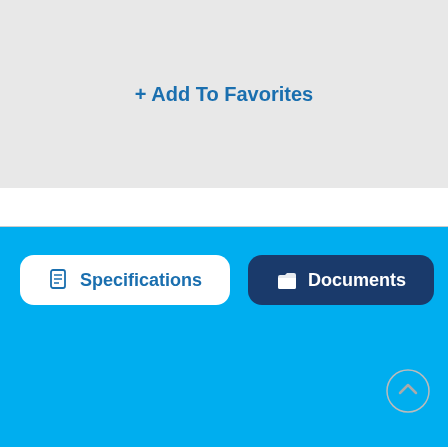+ Add To Favorites
[Figure (screenshot): Tab bar with Specifications (active, white background) and Documents (dark blue background) tabs on a cyan/light blue background]
1/8in Styrene | Divider Moulding | 8ft Length Specifications
| Face Width | 1/2" |
| Base Width | 1/2" |